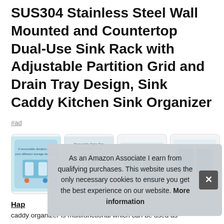SUS304 Stainless Steel Wall Mounted and Countertop Dual-Use Sink Rack with Adjustable Partition Grid and Drain Tray Design, Sink Caddy Kitchen Sink Organizer
#ad
[Figure (photo): Four thumbnail product images of a stainless steel sink rack/caddy organizer showing different angles and features]
As an Amazon Associate I earn from qualifying purchases. This website uses the only necessary cookies to ensure you get the best experience on our website. More information
Hap...
caddy organizer is multifunctional which can be used as